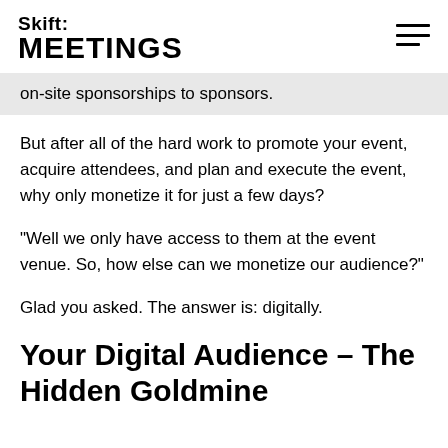Skift MEETINGS
on-site sponsorships to sponsors.
But after all of the hard work to promote your event, acquire attendees, and plan and execute the event, why only monetize it for just a few days?
“Well we only have access to them at the event venue. So, how else can we monetize our audience?”
Glad you asked. The answer is: digitally.
Your Digital Audience – The Hidden Goldmine